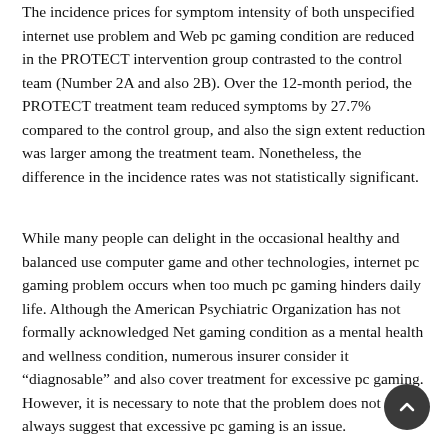The incidence prices for symptom intensity of both unspecified internet use problem and Web pc gaming condition are reduced in the PROTECT intervention group contrasted to the control team (Number 2A and also 2B). Over the 12-month period, the PROTECT treatment team reduced symptoms by 27.7% compared to the control group, and also the sign extent reduction was larger among the treatment team. Nonetheless, the difference in the incidence rates was not statistically significant.
While many people can delight in the occasional healthy and balanced use computer game and other technologies, internet pc gaming problem occurs when too much pc gaming hinders daily life. Although the American Psychiatric Organization has not formally acknowledged Net gaming condition as a mental health and wellness condition, numerous insurer consider it “diagnosable” and also cover treatment for excessive pc gaming. However, it is necessary to note that the problem does not always suggest that excessive pc gaming is an issue.